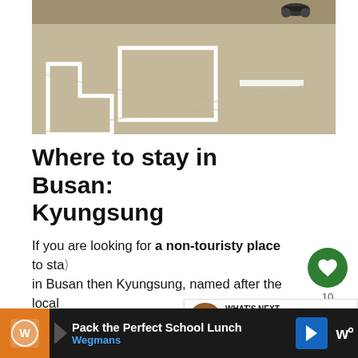[Figure (photo): Aerial view of a parking lot or road intersection with white lane markings, a motorcycle visible at top]
Where to stay in Busan: Kyungsung
If you are looking for a non-touristy place to stay in Busan then Kyungsung, named after the local university, might be the place for you.
Here you will find lots of students and e... also a good place to shop, especially if you love vintage and boutique shops.
[Figure (infographic): WHAT'S NEXT banner with thumbnail image - The perfect 7 days Korea...]
[Figure (infographic): Advertisement bar: Pack the Perfect School Lunch - Wegmans]